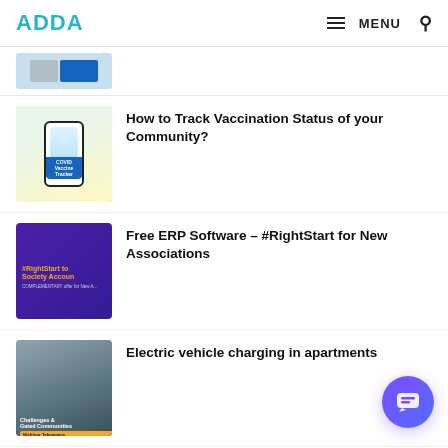ADDA | MENU
[Figure (screenshot): Partial thumbnail of a previous article item — grey and blue tabs visible]
How to Track Vaccination Status of your Community?
[Figure (illustration): Thumbnail showing a smartphone with COVID Vaccine Tracker app screen on colorful background]
Free ERP Software – #RightStart for New Associations
[Figure (screenshot): Purple background thumbnail with #RightStart to Society Accounting, COMPLEMENTARY offer for New Associations text]
Electric vehicle charging in apartments
[Figure (photo): Building/apartment photo thumbnail with green banner: Challenges & Gated Communities, Webinar Takeaways label]
Discover for Associations – Find 150+ Se... Vendors, Products & more!
[Figure (illustration): Blue background thumbnail with ADDA DFA branding and character illustration]